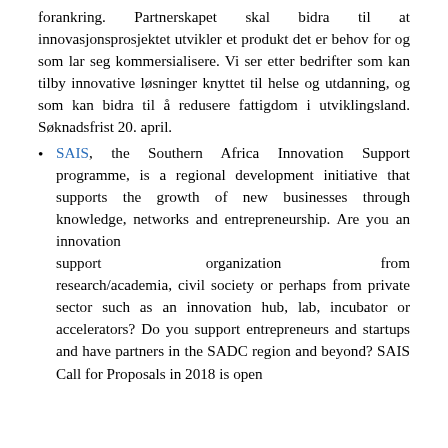forankring. Partnerskapet skal bidra til at innovasjonsprosjektet utvikler et produkt det er behov for og som lar seg kommersialisere. Vi ser etter bedrifter som kan tilby innovative løsninger knyttet til helse og utdanning, og som kan bidra til å redusere fattigdom i utviklingsland. Søknadsfrist 20. april.
SAIS, the Southern Africa Innovation Support programme, is a regional development initiative that supports the growth of new businesses through knowledge, networks and entrepreneurship. Are you an innovation support organization from research/academia, civil society or perhaps from private sector such as an innovation hub, lab, incubator or accelerators? Do you support entrepreneurs and startups and have partners in the SADC region and beyond? SAIS Call for Proposals in 2018 is open